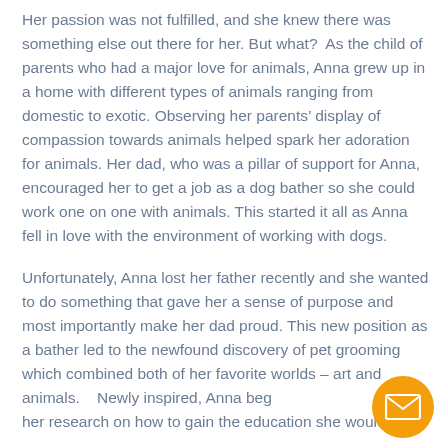Her passion was not fulfilled, and she knew there was something else out there for her. But what?  As the child of parents who had a major love for animals, Anna grew up in a home with different types of animals ranging from domestic to exotic. Observing her parents' display of compassion towards animals helped spark her adoration for animals. Her dad, who was a pillar of support for Anna, encouraged her to get a job as a dog bather so she could work one on one with animals. This started it all as Anna fell in love with the environment of working with dogs.
Unfortunately, Anna lost her father recently and she wanted to do something that gave her a sense of purpose and most importantly make her dad proud. This new position as a bather led to the newfound discovery of pet grooming which combined both of her favorite worlds – art and animals.   Newly inspired, Anna began her research on how to gain the education she would
[Figure (other): Orange circular email contact button with envelope icon in the bottom-right corner]